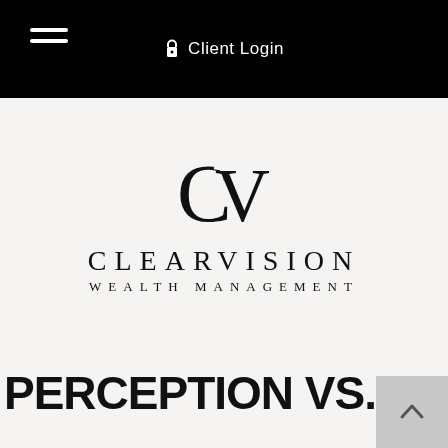Client Login
[Figure (logo): ClearVision Wealth Management logo with CV monogram and serif lettering]
PERCEPTION VS. REALITY